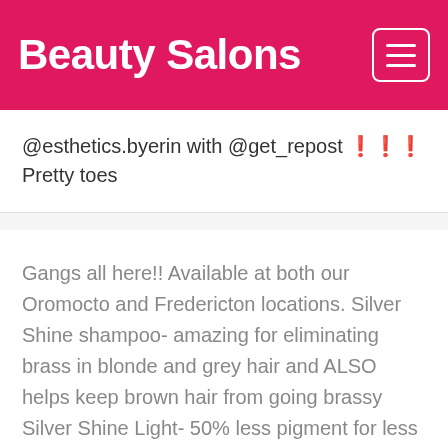Beauty Salons
@esthetics.byerin with @get_repost 🔁 Pretty toes
Gangs all here!! Available at both our Oromocto and Fredericton locations. Silver Shine shampoo- amazing for eliminating brass in blonde and grey hair and ALSO helps keep brown hair from going brassy Silver Shine Light- 50% less pigment for less color deposit *new* Silver Shine conditioner- organic blueberry extract and milk proteins. Neutralizes brassiness Silver Shine Whipped